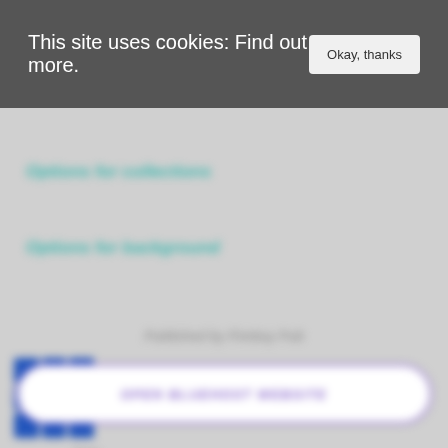This site uses cookies: Find out more.   Okay, thanks
Options for collections
Options for background
Published by Fireboy Pub
[Figure (logo): 3x3 grid logo with blue squares]
Bluehost
Yadirav CNAME
From
$2.95 /month
OPEN BLUEHOST WEBSITE